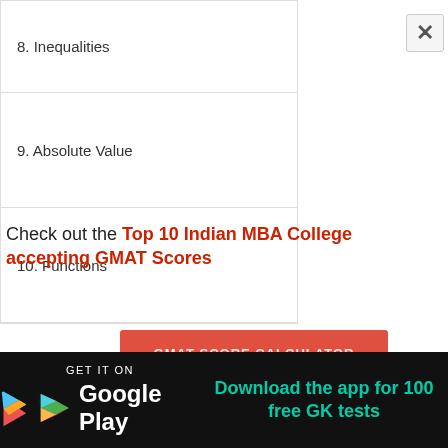8. Inequalities
9. Absolute Value
10. Functions
Check out the Top 10 Indian MBA College accepting GMAT Scores
[Figure (screenshot): Red button labeled GMAT SCORE CALCULATOR]
[Figure (screenshot): Google Play Store banner with text: GET IT ON Google Play | Download the app for 100 free GK tests]